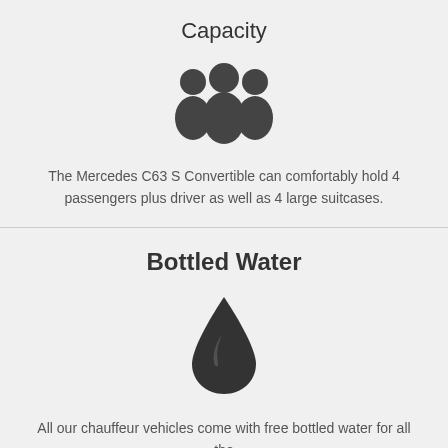Capacity
[Figure (illustration): Three people silhouette icon representing group/passengers capacity]
The Mercedes C63 S Convertible can comfortably hold 4 passengers plus driver as well as 4 large suitcases.
Bottled Water
[Figure (illustration): Water drop icon representing bottled water]
All our chauffeur vehicles come with free bottled water for all the passengers.